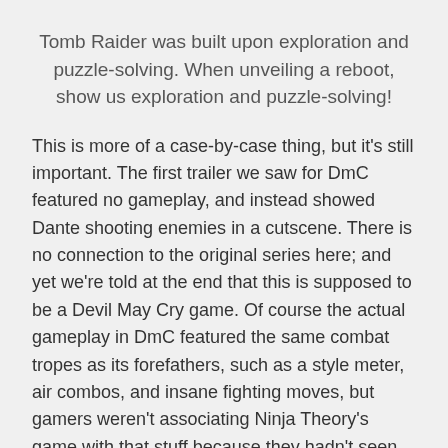Tomb Raider was built upon exploration and puzzle-solving. When unveiling a reboot, show us exploration and puzzle-solving!
This is more of a case-by-case thing, but it's still important. The first trailer we saw for DmC featured no gameplay, and instead showed Dante shooting enemies in a cutscene. There is no connection to the original series here; and yet we're told at the end that this is supposed to be a Devil May Cry game. Of course the actual gameplay in DmC featured the same combat tropes as its forefathers, such as a style meter, air combos, and insane fighting moves, but gamers weren't associating Ninja Theory's game with that stuff because they hadn't seen it. Show us